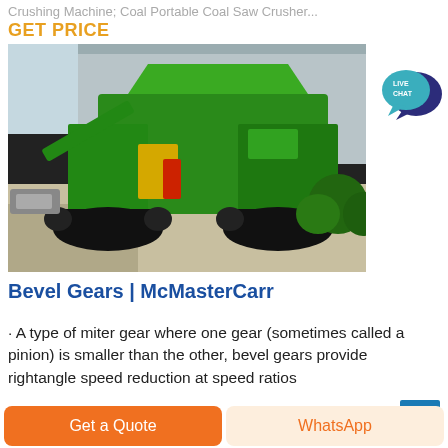Crushing Machine; Coal Portable Coal Saw Crusher...
GET PRICE
[Figure (photo): A large green tracked mobile coal crushing machine photographed outdoors near a building and vegetation.]
Bevel Gears | McMasterCarr
· A type of miter gear where one gear (sometimes called a pinion) is smaller than the other, bevel gears provide rightangle speed reduction at speed ratios
Get a Quote   WhatsApp